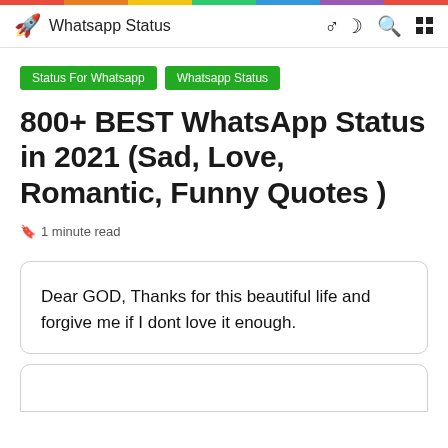Whatsapp Status
Status For Whatsapp
Whatsapp Status
800+ BEST WhatsApp Status in 2021 (Sad, Love, Romantic, Funny Quotes )
1 minute read
Dear GOD, Thanks for this beautiful life and forgive me if I dont love it enough.